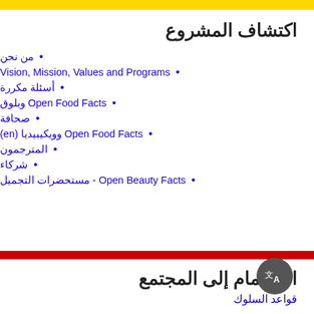اكتشاف المشروع
من نحن
Vision, Mission, Values and Programs
أسئلة مكررة
Open Food Facts وبلوق
صحافة
Open Food Facts وويكيبيديا (en)
المترجمون
شركاء
Open Beauty Facts - مستحضرات التجميل
الانضمام إلى المجتمع
قواعد السلوك